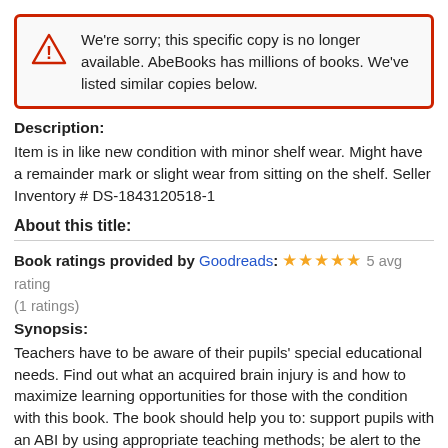We're sorry; this specific copy is no longer available. AbeBooks has millions of books. We've listed similar copies below.
Description:
Item is in like new condition with minor shelf wear. Might have a remainder mark or slight wear from sitting on the shelf. Seller Inventory # DS-1843120518-1
About this title:
Book ratings provided by Goodreads: ★★★★★ 5 avg rating (1 ratings)
Synopsis:
Teachers have to be aware of their pupils' special educational needs. Find out what an acquired brain injury is and how to maximize learning opportunities for those with the condition with this book. The book should help you to: support pupils with an ABI by using appropriate teaching methods; be alert to the social